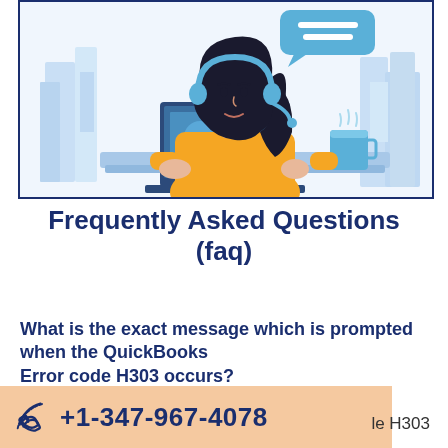[Figure (illustration): Customer support illustration: a woman with dark hair wearing a yellow sweater and blue headset with microphone, sitting at a laptop. A blue coffee/tea mug with steam is beside her. Blue speech bubble icon above. Light blue city skyline background.]
Frequently Asked Questions (faq)
What is the exact message which is prompted when the QuickBooks Error code H303 occurs?
+1-347-967-4078
le H303